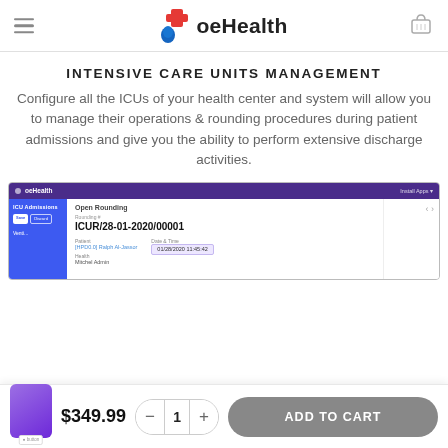oeHealth
INTENSIVE CARE UNITS MANAGEMENT
Configure all the ICUs of your health center and system will allow you to manage their operations & rounding procedures during patient admissions and give you the ability to perform extensive discharge activities.
[Figure (screenshot): Screenshot of oeHealth ICU Admissions module showing Open Rounding form with Rounding # ICUR/28-01-2020/00001, Patient and Health fields, and Date & Time 01/28/2020 11:45:42]
$349.99
ADD TO CART